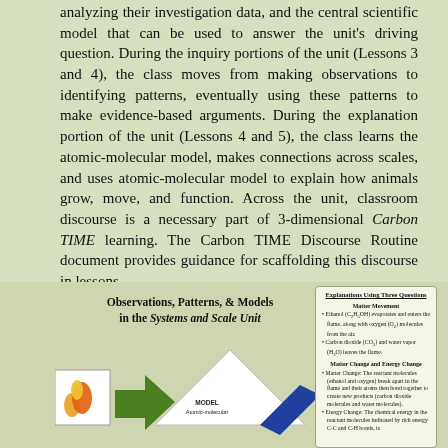analyzing their investigation data, and the central scientific model that can be used to answer the unit's driving question. During the inquiry portions of the unit (Lessons 3 and 4), the class moves from making observations to identifying patterns, eventually using these patterns to make evidence-based arguments. During the explanation portion of the unit (Lessons 4 and 5), the class learns the atomic-molecular model, makes connections across scales, and uses atomic-molecular model to explain how animals grow, move, and function. Across the unit, classroom discourse is a necessary part of 3-dimensional Carbon TIME learning. The Carbon TIME Discourse Routine document provides guidance for scaffolding this discourse in lessons.
Observations, Patterns, & Models in the Systems and Scale Unit
[Figure (illustration): Diagram showing observations, patterns, and models in the Systems and Scale Unit. Includes a flame/fire icon in a white box, a green arrow, a white triangle (mountain shape), and a blue parallelogram, with the label MODEL Atomic-molecular inside the triangle.]
Explanations Using Three Questions
Matter Movement
• Ethanol (C2H5OH) evaporates and enters the flame, along with oxygen (O2) molecules from the air.
• Carbon dioxide (CO2) and water vapor (H2O) leaves the flame.
Matter Change and Energy Change
• Matter Change: The reactant molecules (ethanol and oxygen) break apart in the flame and their atoms then bond together to create new products (carbon dioxide molecules and water molecules).
• Energy Change: The chemical energy in the reactant molecules indicated by rich energy C-C and C-H bonds, is